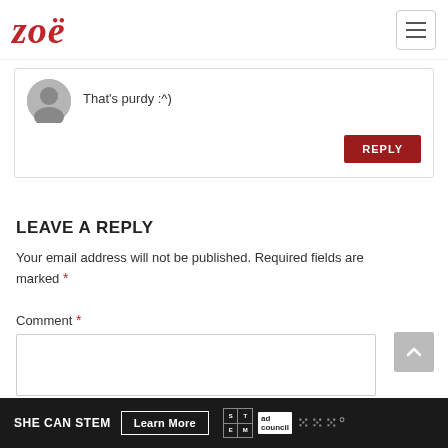zoë
That's purdy :^)
LEAVE A REPLY
Your email address will not be published. Required fields are marked *
Comment *
SHE CAN STEM  Learn More